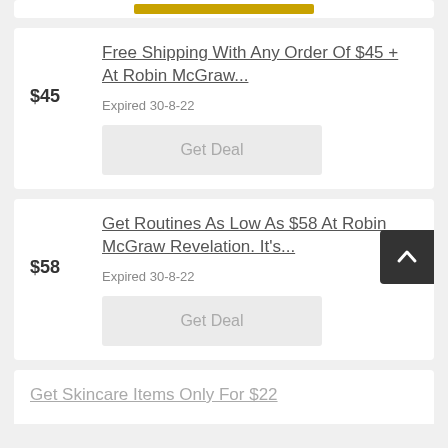Free Shipping With Any Order Of $45 + At Robin McGraw...
$45
Expired 30-8-22
Get Deal
Get Routines As Low As $58 At Robin McGraw Revelation. It's...
$58
Expired 30-8-22
Get Deal
Get Skincare Items Only For $22